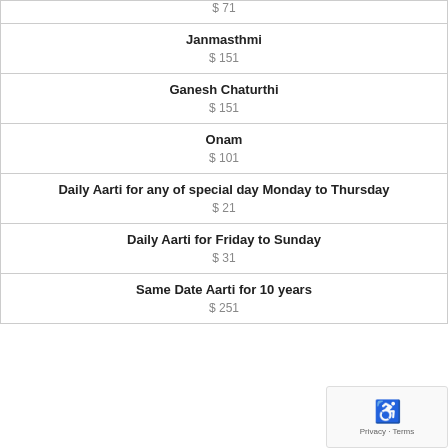| $ 71 |
| Janmasthmi | $ 151 |
| Ganesh Chaturthi | $ 151 |
| Onam | $ 101 |
| Daily Aarti for any of special day Monday to Thursday | $ 21 |
| Daily Aarti for Friday to Sunday | $ 31 |
| Same Date Aarti for 10 years | $ 251 |